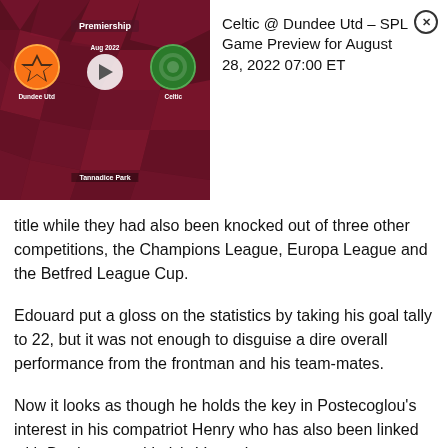[Figure (screenshot): Video thumbnail showing a Scottish Premiership match preview between Dundee Utd and Celtic, with team logos and a play button, at Tannadice Park]
Celtic @ Dundee Utd – SPL Game Preview for August 28, 2022 07:00 ET
title while they had also been knocked out of three other competitions, the Champions League, Europa League and the Betfred League Cup.
Edouard put a gloss on the statistics by taking his goal tally to 22, but it was not enough to disguise a dire overall performance from the frontman and his team-mates.
Now it looks as though he holds the key in Postecoglou's interest in his compatriot Henry who has also been linked with Bordeaux and Italy's Venetzia.